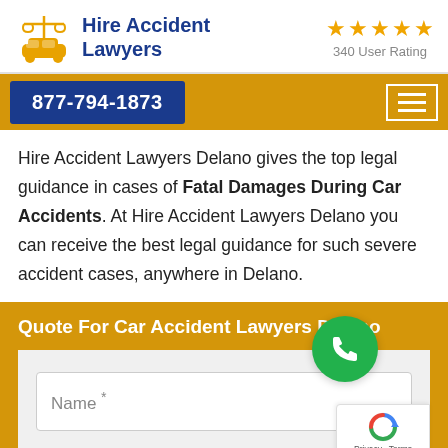[Figure (logo): Hire Accident Lawyers logo with scales of justice and car icon in gold/orange, company name in dark blue]
[Figure (infographic): Five gold stars with '340 User Rating' text below]
877-794-1873
Hire Accident Lawyers Delano gives the top legal guidance in cases of Fatal Damages During Car Accidents. At Hire Accident Lawyers Delano you can receive the best legal guidance for such severe accident cases, anywhere in Delano.
Quote For Car Accident Lawyers Delano
Name *